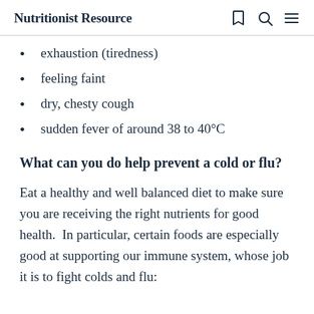Nutritionist Resource
exhaustion (tiredness)
feeling faint
dry, chesty cough
sudden fever of around 38 to 40°C
What can you do help prevent a cold or flu?
Eat a healthy and well balanced diet to make sure you are receiving the right nutrients for good health.  In particular, certain foods are especially good at supporting our immune system, whose job it is to fight colds and flu: